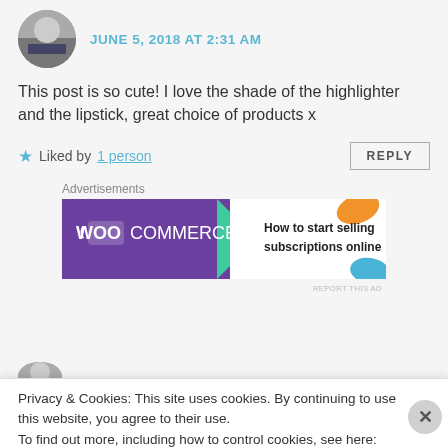JUNE 5, 2018 AT 2:31 AM
This post is so cute! I love the shade of the highlighter and the lipstick, great choice of products x
★ Liked by 1 person   REPLY
Advertisements
[Figure (screenshot): WooCommerce advertisement banner: purple background with WooCommerce logo on left, teal arrow pointing right, and text 'How to start selling subscriptions online' on white background with orange and blue decorative shapes.]
REPORT THIS AD
Privacy & Cookies: This site uses cookies. By continuing to use this website, you agree to their use.
To find out more, including how to control cookies, see here: Cookie Policy
Close and accept